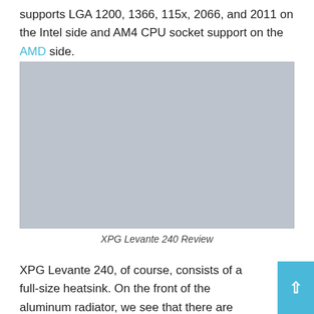supports LGA 1200, 1366, 115x, 2066, and 2011 on the Intel side and AM4 CPU socket support on the AMD side.
[Figure (photo): Placeholder image for XPG Levante 240 Review — gray rectangle representing a product photograph]
XPG Levante 240 Review
XPG Levante 240, of course, consists of a full-size heatsink. On the front of the aluminum radiator, we see that there are double ring 120 mm fans mounted on it. These fan